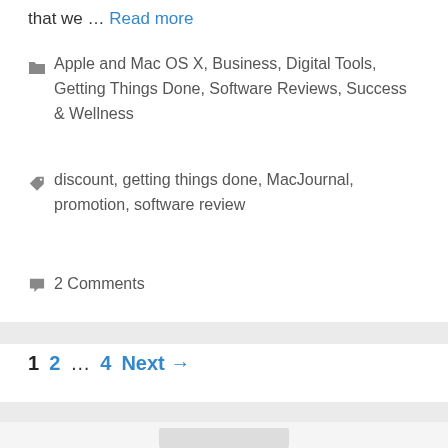that we … Read more
Apple and Mac OS X, Business, Digital Tools, Getting Things Done, Software Reviews, Success & Wellness
discount, getting things done, MacJournal, promotion, software review
2 Comments
1  2  …  4  Next →